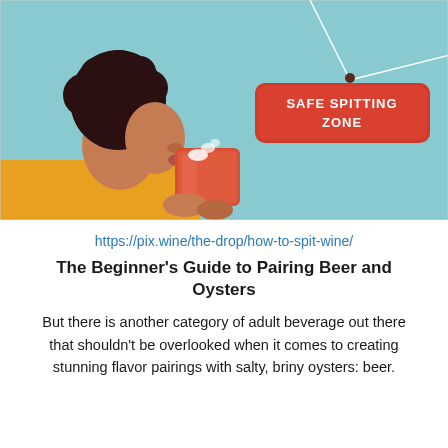[Figure (illustration): Illustration of a person with short dark curly hair, wearing a yellow top, drinking from a red/orange cup and spitting liquid. Background is light blue/teal. A red hanging sign reads 'SAFE SPITTING ZONE' in white bold text.]
https://pix.wine/the-drop/how-to-spit-wine/
The Beginner's Guide to Pairing Beer and Oysters
But there is another category of adult beverage out there that shouldn't be overlooked when it comes to creating stunning flavor pairings with salty, briny oysters: beer.